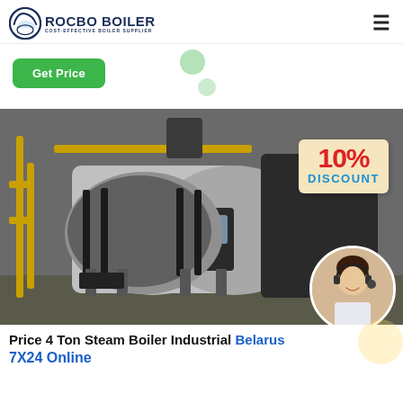ROCBO BOILER – COST-EFFECTIVE BOILER SUPPLIER
Get Price
[Figure (photo): Industrial steam boilers in a factory setting with yellow gas pipes, control panel on front, and a 10% Discount badge overlay with a female customer service agent in circular frame.]
Price 4 Ton Steam Boiler Industrial Belarus
7X24 Online